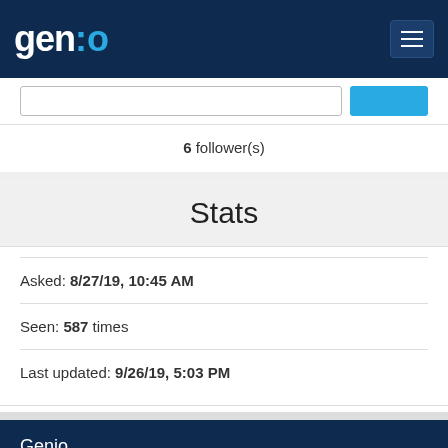gen:o (logo and navigation bar)
6 follower(s)
Stats
Asked: 8/27/19, 10:45 AM
Seen: 587 times
Last updated: 9/26/19, 5:03 PM
Genio
Scaled Agile and Lean platform for modeling and automatic